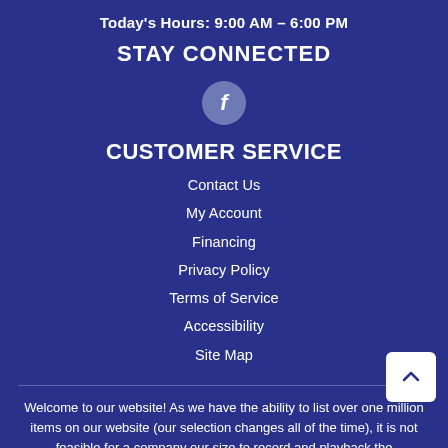Today's Hours: 9:00 AM – 6:00 PM
STAY CONNECTED
[Figure (illustration): Facebook icon — white 'f' letter inside a gray circle]
CUSTOMER SERVICE
Contact Us
My Account
Financing
Privacy Policy
Terms of Service
Accessibility
Site Map
Welcome to our website! As we have the ability to list over one million items on our website (our selection changes all of the time), it is not feasible for a company our size to record and playback the descriptions on every item on our website. However, if you have a disability we are here to help you. Please call our